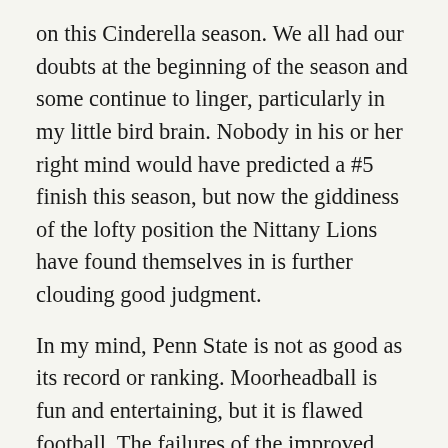on this Cinderella season. We all had our doubts at the beginning of the season and some continue to linger, particularly in my little bird brain. Nobody in his or her right mind would have predicted a #5 finish this season, but now the giddiness of the lofty position the Nittany Lions have found themselves in is further clouding good judgment.
In my mind, Penn State is not as good as its record or ranking. Moorheadball is fun and entertaining, but it is flawed football. The failures of the improved, but still deficient offensive line give me pause. Even a great running back like Saquon Barkley needs a serviceable offensive line in front of him. If he is well defended, with the fact of the putrid third-down conversion rate in mind, the vertical passing game is all that is left. Sooner or later if the defensive opposition wants to shut front